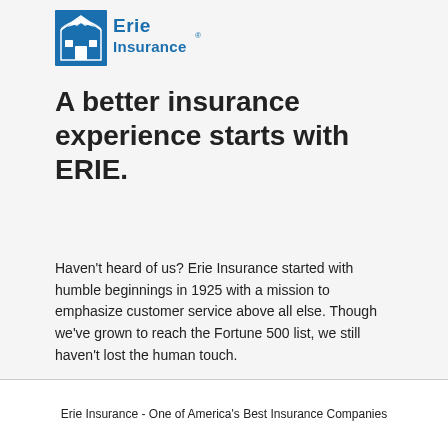[Figure (logo): Erie Insurance logo — blue stylized house/eagle icon with 'Erie Insurance' text in blue to the right]
A better insurance experience starts with ERIE.
Haven't heard of us? Erie Insurance started with humble beginnings in 1925 with a mission to emphasize customer service above all else. Though we've grown to reach the Fortune 500 list, we still haven't lost the human touch.
Erie Insurance - One of America's Best Insurance Companies